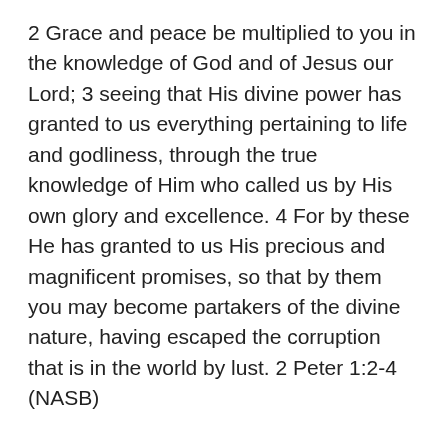2 Grace and peace be multiplied to you in the knowledge of God and of Jesus our Lord; 3 seeing that His divine power has granted to us everything pertaining to life and godliness, through the true knowledge of Him who called us by His own glory and excellence. 4 For by these He has granted to us His precious and magnificent promises, so that by them you may become partakers of the divine nature, having escaped the corruption that is in the world by lust. 2 Peter 1:2-4 (NASB)
Is it possible to know whether we are genuine partakers of the divine nature and not simply religious converts? Let us look at the Apostle Peter's understanding of this. If anyone would understand that our own efforts to please God are a total waste of time, Peter would be the man. He declared to our Lord on the night of His arrest that he would rather